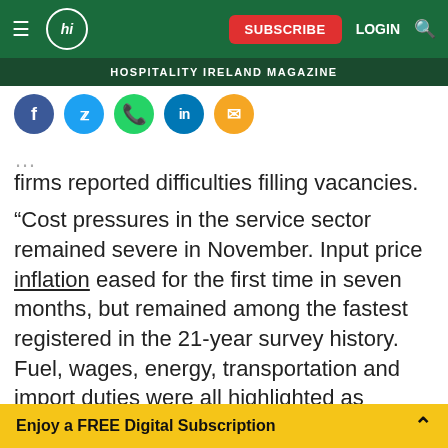Hospitality Ireland Magazine — navigation bar with logo, SUBSCRIBE button, LOGIN, search
HOSPITALITY IRELAND MAGAZINE
[Figure (infographic): Social share icons: Facebook, Twitter, WhatsApp, LinkedIn, Email]
firms reported difficulties filling vacancies.
"Cost pressures in the service sector remained severe in November. Input price inflation eased for the first time in seven months, but remained among the fastest registered in the 21-year survey history. Fuel, wages, energy, transportation and import duties were all highlighted as sources of rising costs, plus physical goods such as paper, chemicals, plastics and computer hardware. Subsequently, the rate of inflation in prices
Enjoy a FREE Digital Subscription